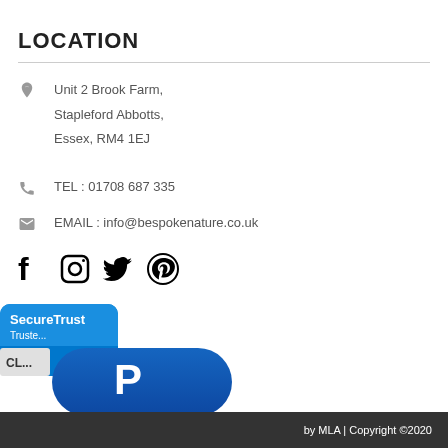LOCATION
Unit 2 Brook Farm, Stapleford Abbotts, Essex, RM4 1EJ
TEL : 01708 687 335
EMAIL : info@bespokenature.co.uk
[Figure (logo): Social media icons: Facebook, Instagram, Twitter, Pinterest]
[Figure (logo): SecureTrust Trusted Commerce badge]
[Figure (logo): PayPal button logo]
by MLA | Copyright ©2020